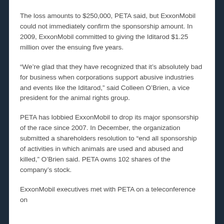The loss amounts to $250,000, PETA said, but ExxonMobil could not immediately confirm the sponsorship amount. In 2009, ExxonMobil committed to giving the Iditarod $1.25 million over the ensuing five years.
“We’re glad that they have recognized that it’s absolutely bad for business when corporations support abusive industries and events like the Iditarod,” said Colleen O’Brien, a vice president for the animal rights group.
PETA has lobbied ExxonMobil to drop its major sponsorship of the race since 2007. In December, the organization submitted a shareholders resolution to “end all sponsorship of activities in which animals are used and abused and killed,” O’Brien said. PETA owns 102 shares of the company’s stock.
ExxonMobil executives met with PETA on a teleconference on